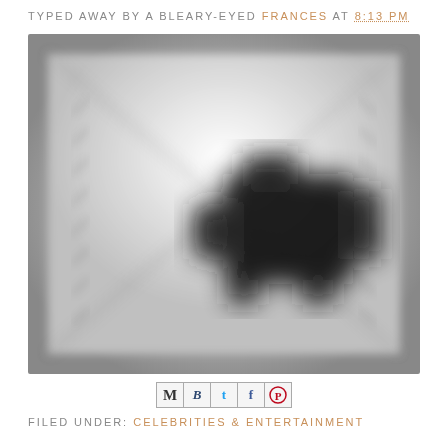TYPED AWAY BY A BLEARY-EYED FRANCES AT 8:13 PM
[Figure (photo): Blurry black and white photo of an interior room with an envelope-shaped shadow pattern on the walls/ceiling and a dark camera or projector shape in the center-right area]
[Figure (infographic): Social share buttons: M (email), B (tumblr), t (twitter), f (facebook), circle-P (pinterest)]
FILED UNDER: CELEBRITIES & ENTERTAINMENT